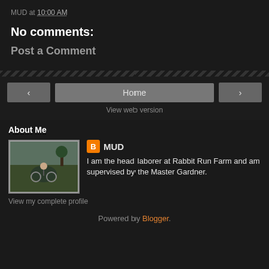MUD at 10:00 AM
No comments:
Post a Comment
Home
View web version
About Me
[Figure (photo): Profile photo showing person on bicycle outdoors]
MUD
I am the head laborer at Rabbit Run Farm and am supervised by the Master Gardner.
View my complete profile
Powered by Blogger.